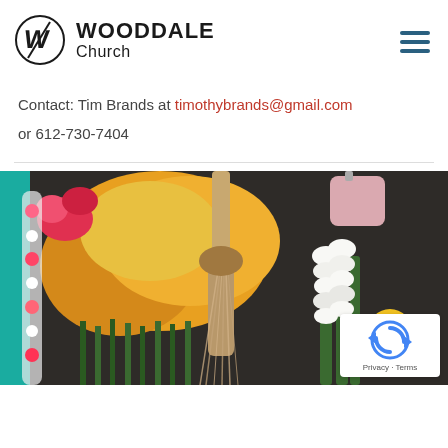[Figure (logo): Wooddale Church logo with circular W monogram and bold text 'WOODDALE Church']
Contact: Tim Brands at timothybrands@gmail.com
or 612-730-7404
[Figure (photo): Colorful flower market stall with yellow, white, and red flowers including sunflowers, gladioli, and other blooms]